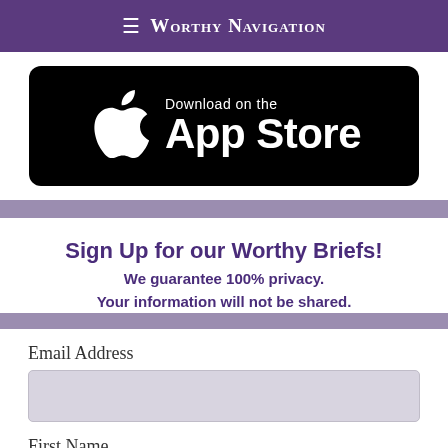≡ Worthy Navigation
[Figure (screenshot): Download on the App Store badge with Apple logo on black rounded rectangle background]
Sign Up for our Worthy Briefs!
We guarantee 100% privacy.
Your information will not be shared.
Email Address
First Name
Last Name